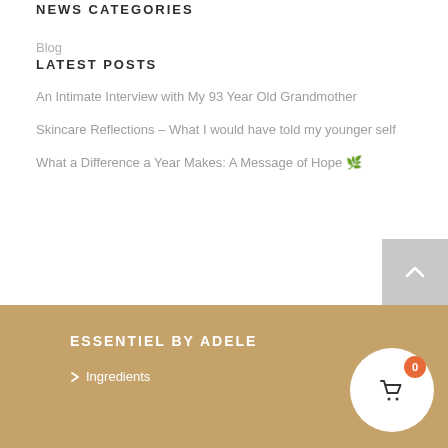NEWS CATEGORIES
Blog
LATEST POSTS
An Intimate Interview with My 93 Year Old Grandmother
Skincare Reflections – What I would have told my younger self
What a Difference a Year Makes: A Message of Hope 🌿
ESSENTIEL BY ADELE
> Ingredients